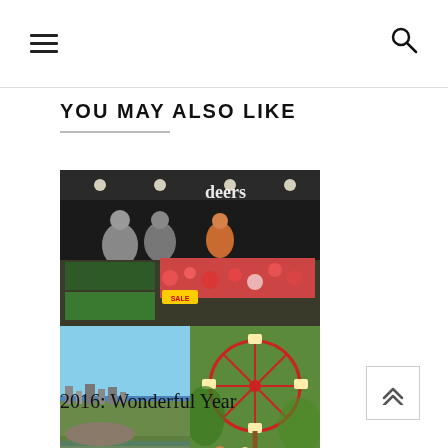[hamburger menu icon] [search icon]
YOU MAY ALSO LIKE
[Figure (photo): Collage of three photos: top image shows a food market/deli counter with people and red food items displayed, with 'deers' sign visible; bottom-left shows a coastal cityscape; bottom-right shows a decorated ferris wheel with red decorations.]
2016: Wonderful Year